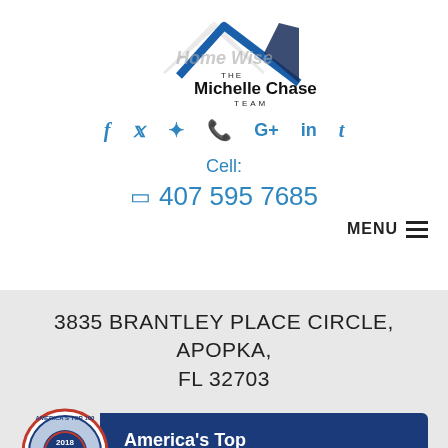[Figure (logo): Home Wise - The Michelle Chase Team logo with house roof graphic in blue and grey, and stylized text]
f  t  ♣  📞  G+  in  t
Cell:
📱 407 595 7685
MENU ≡
3835 BRANTLEY PLACE CIRCLE, APOPKA, FL 32703
[Figure (logo): America's Top 100 Real Estate Agents 2018 TOP 1% badge/seal alongside banner reading America's Top 100 Realtors]